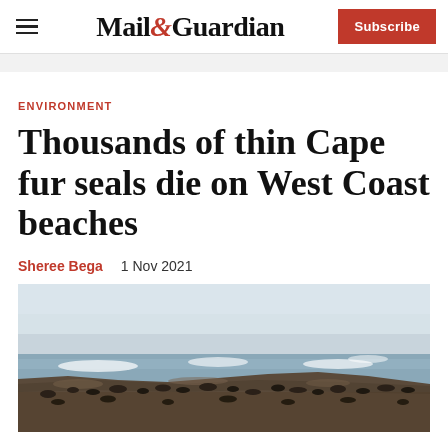Mail&Guardian | Subscribe
ENVIRONMENT
Thousands of thin Cape fur seals die on West Coast beaches
Sheree Bega   1 Nov 2021
[Figure (photo): Rocky coastal shoreline with Cape fur seals gathered on rocks, waves crashing in the background against a hazy sky.]